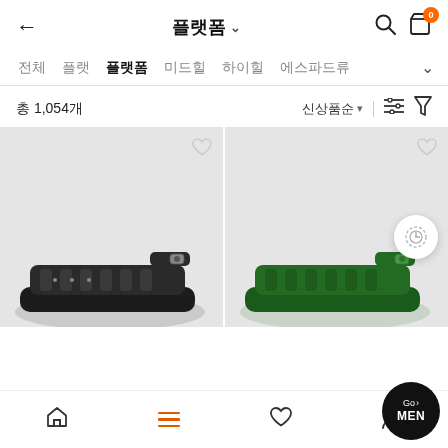플랫폼
전체  플랫  플랫폼  미드힐  하이힐  에스파드류
총 1,054개
신상품순
[Figure (photo): Black flat sandal shoe on grey background]
[Figure (photo): Green flat sandal shoe on grey background]
Home  Menu  Wishlist  My Page  Go > MEN